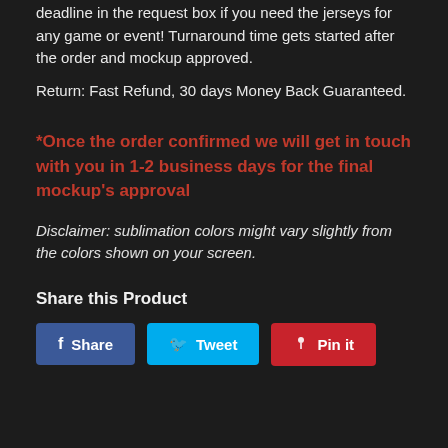deadline in the request box if you need the jerseys for any game or event! Turnaround time gets started after the order and mockup approved.
Return: Fast Refund, 30 days Money Back Guaranteed.
*Once the order confirmed we will get in touch with you in 1-2 business days for the final mockup's approval
Disclaimer: sublimation colors might vary slightly from the colors shown on your screen.
Share this Product
Share | Tweet | Pin it